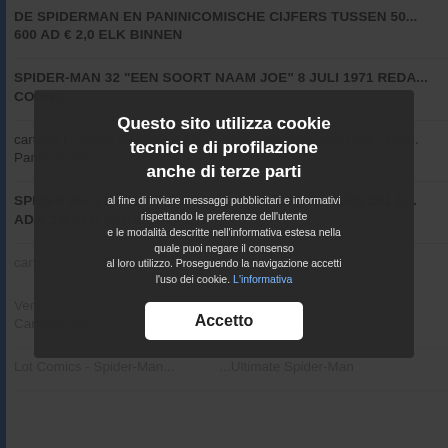DE SPIDERMAN EN PANINICOMISCHE CIJFERS TUSSEN 50... 600 AD € 2,0 ELK BINNEN
SPIDER-MAN 32 "EEN SOORT NAAM JOE" 8 JULI 1971 REDA... CORNO
cartoon L'UOMO RAGNO n.670 - Amazing Spider-man n.21 - Mar... Panini Comics
SPIDER MAN EN MARVEL ITALIA NUMMERS TUSSEN 201 B... AD € 2,5 ELK BINNENKOMEN
cartoon THE SPI... ...al Comics
Venom Spide... ...994 Comics N... Carnage Spi...
Lot Comics - Spider-Man... ...Ultimate Spider-Man
Questo sito utilizza cookie tecnici e di profilazione anche di terze parti al fine di inviare messaggi pubblicitari e informativi rispettando le preferenze dell'utente e le modalità descritte nell'informativa estesa nella quale puoi negare il consenso al loro utilizzo. Proseguendo la navigazione accetti l'uso dei cookie. L'informativa
Accetto